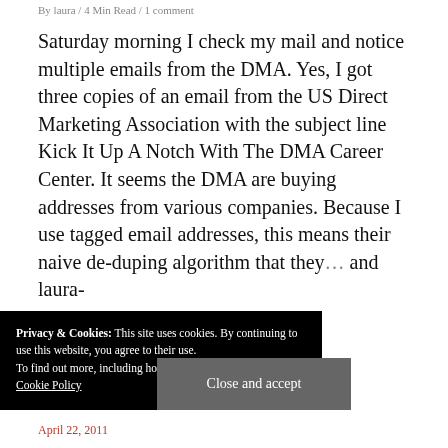By laura / 4 Min Read / 1 comment
Saturday morning I check my mail and notice multiple emails from the DMA. Yes, I got three copies of an email from the US Direct Marketing Association with the subject line Kick It Up A Notch With The DMA Career Center. It seems the DMA are buying addresses from various companies. Because I use tagged email addresses, this means their naive de-duping algorithm that they... and laura-
Privacy & Cookies: This site uses cookies. By continuing to use this website, you agree to their use.
To find out more, including how to control cookies, see here: Cookie Policy
Close and accept
April 22, 2011